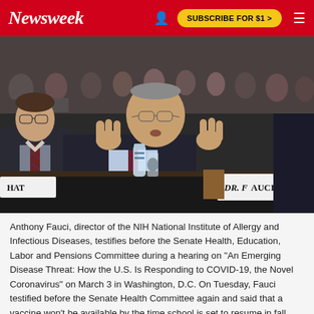Newsweek
[Figure (photo): Anthony Fauci testifying before a Senate committee, seated at a hearing table with a nameplate reading 'DR. FAUCI', gesturing with both hands, wearing a dark suit and glasses. A younger man in a suit and tie sits to his left. Audience members are visible in the background.]
Anthony Fauci, director of the NIH National Institute of Allergy and Infectious Diseases, testifies before the Senate Health, Education, Labor and Pensions Committee during a hearing on "An Emerging Disease Threat: How the U.S. Is Responding to COVID-19, the Novel Coronavirus" on March 3 in Washington, D.C. On Tuesday, Fauci testified before the Senate Health Committee again and said that a vaccine won't be available by the time school is set to resume in fall.
SARAH SILBIGER/GETTY